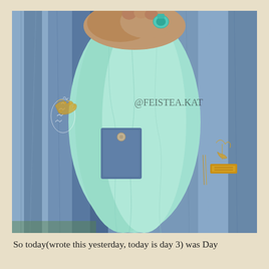[Figure (photo): Close-up photo of a person wearing a light blue denim jacket open over a mint/teal draped garment or scarf. The person's hands/arms are visible at top holding the fabric. A teal bracelet or jewelry is visible. The denim jacket has yellow/gold embroidery details on the left chest and a Levi's-style tab on the right side. A pocket with a button is visible center-left. Watermark text '@FEISTEA.KAT' overlaid in the center of the image.]
So today(wrote this yesterday, today is day 3) was Day